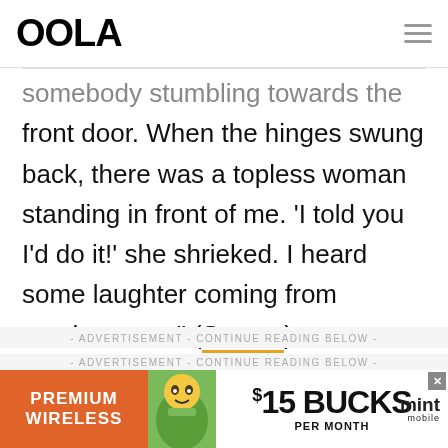OOLA
somebody stumbling towards the front door. When the hinges swung back, there was a topless woman standing in front of me. 'I told you I'd do it!' she shrieked. I heard some laughter coming from another room" (Source).
- ADVERTISEMENT - CONTINUE READING BELOW -
[Figure (other): Mint Mobile advertisement banner: Premium Wireless, $15 Bucks Per Month]